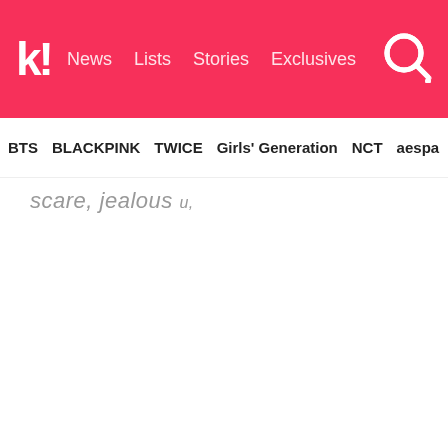k! News Lists Stories Exclusives [search]
BTS BLACKPINK TWICE Girls' Generation NCT aespa
scare, jealous u,